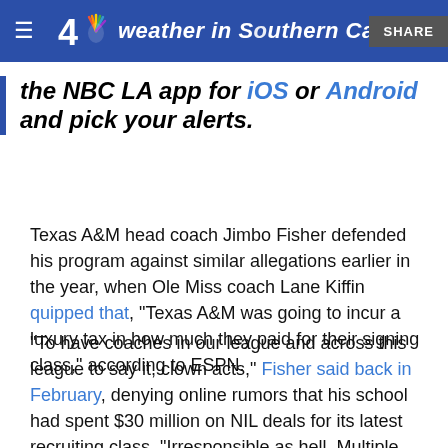weather in Southern California
the NBC LA app for iOS or Android and pick your alerts.
Texas A&M head coach Jimbo Fisher defended his program against similar allegations earlier in the year, when Ole Miss coach Lane Kiffin quipped that, "Texas A&M was going to incur a luxury tax in how much they paid for their signing class," according to ESPN.
"To have coaches in our league and across this league to say it, clown acts," Fisher said back in February, denying online rumors that his school had spent $30 million on NIL deals for its latest recruiting class. "Irresponsible as hell. Multiple coaches in our league. And the guys griping about NIL and